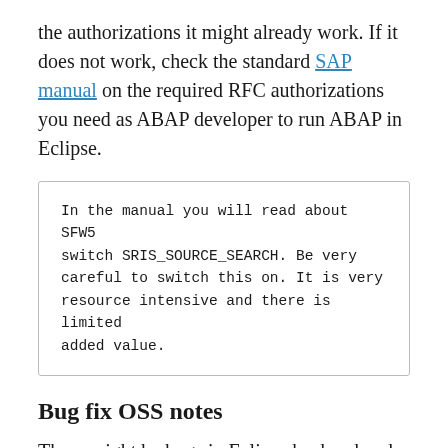the authorizations it might already work. If it does not work, check the standard SAP manual on the required RFC authorizations you need as ABAP developer to run ABAP in Eclipse.
In the manual you will read about SFW5 switch SRIS_SOURCE_SEARCH. Be very careful to switch this on. It is very resource intensive and there is limited added value.
Bug fix OSS notes
There might be bugs in Eclipse backend code.